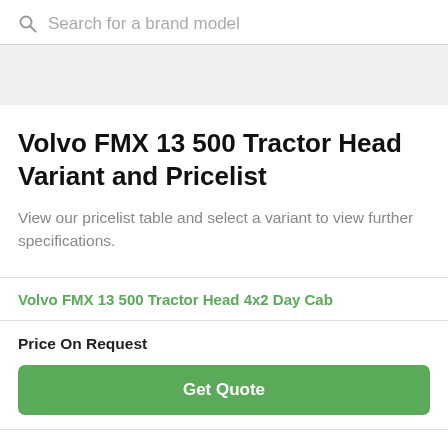Search for a brand model
Volvo FMX 13 500 Tractor Head Variant and Pricelist
View our pricelist table and select a variant to view further specifications.
Volvo FMX 13 500 Tractor Head 4x2 Day Cab
Price On Request
Get Quote